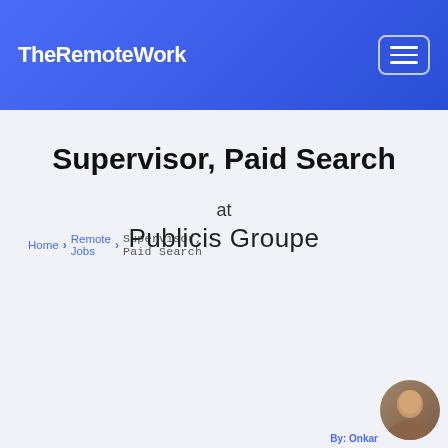TheRemoteWork
Home › Remote Jobs › Supervisor, Paid Search
Supervisor, Paid Search
at
Publicis Groupe
Chicago, IL   Full Time   11mo ago
Company Description
Publicis Media is one of the four solutions hubs of Publicis Groupe ([Euronext Paris FR0000130577, CAC 40]), alongside Publicis Communications, Publicis Sapient and Publicis Health. Led by Steve